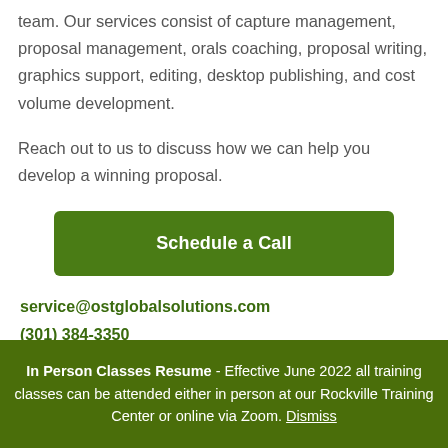team. Our services consist of capture management, proposal management, orals coaching, proposal writing, graphics support, editing, desktop publishing, and cost volume development.
Reach out to us to discuss how we can help you develop a winning proposal.
[Figure (other): Green button labeled 'Schedule a Call']
service@ostglobalsolutions.com
(301) 384-3350
In Person Classes Resume - Effective June 2022 all training classes can be attended either in person at our Rockville Training Center or online via Zoom. Dismiss